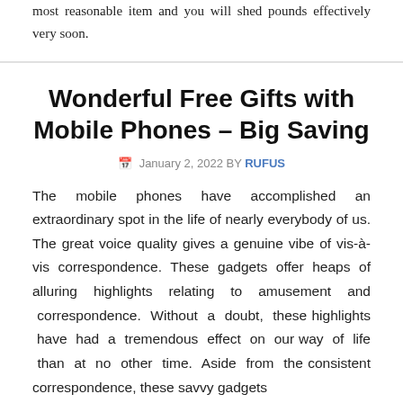most reasonable item and you will shed pounds effectively very soon.
Wonderful Free Gifts with Mobile Phones – Big Saving
January 2, 2022 BY RUFUS
The mobile phones have accomplished an extraordinary spot in the life of nearly everybody of us. The great voice quality gives a genuine vibe of vis-à-vis correspondence. These gadgets offer heaps of alluring highlights relating to amusement and correspondence. Without a doubt, these highlights have had a tremendous effect on our way of life than at no other time. Aside from the consistent correspondence, these savvy gadgets